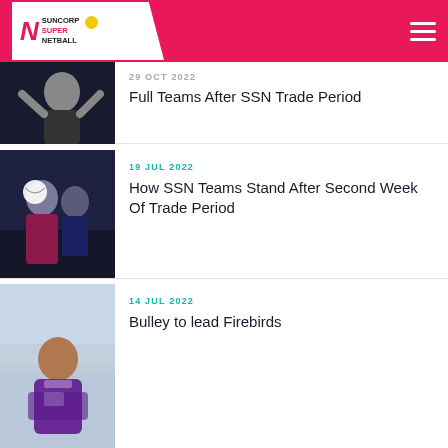Suncorp Super Netball
[Figure (photo): Netball player in black uniform with arms raised holding ball]
29 OCT 2022
Full Teams After SSN Trade Period
[Figure (photo): Netball player in dark uniform holding ball, another player behind]
19 JUL 2022
How SSN Teams Stand After Second Week Of Trade Period
[Figure (photo): Woman in purple Firebirds polo shirt standing in sports hall]
14 JUL 2022
Bulley to lead Firebirds